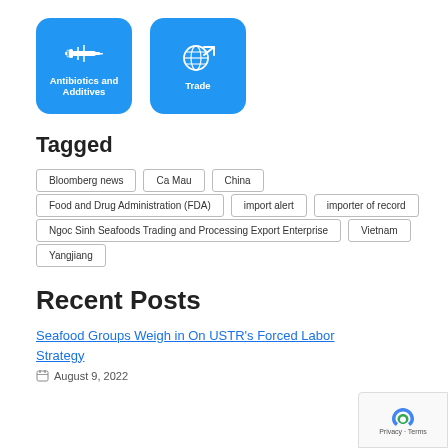[Figure (illustration): Two blue rounded square icons: 'Antibiotics and Additives' with a syringe icon, and 'Trade' with a globe/arrow icon]
Tagged
Bloomberg news
Ca Mau
China
Food and Drug Administration (FDA)
import alert
importer of record
Ngoc Sinh Seafoods Trading and Processing Export Enterprise
Vietnam
Yangjiang
Recent Posts
Seafood Groups Weigh in On USTR's Forced Labor Strategy
August 9, 2022